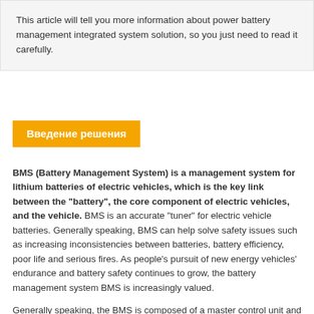This article will tell you more information about power battery management integrated system solution, so you just need to read it carefully.
Введение решения
BMS (Battery Management System) is a management system for lithium batteries of electric vehicles, which is the key link between the "battery", the core component of electric vehicles, and the vehicle. BMS is an accurate "tuner" for electric vehicle batteries. Generally speaking, BMS can help solve safety issues such as increasing inconsistencies between batteries, battery efficiency, poor life and serious fires. As people's pursuit of new energy vehicles' endurance and battery safety continues to grow, the battery management system BMS is increasingly valued.
Generally speaking, the BMS is composed of a master control unit and multiple slave control units. The slave control unit is directly connected to the battery pack to collect the battery voltage, current, and temperature. (Chrysanthemum chain) Manage multiple slave control units through communication